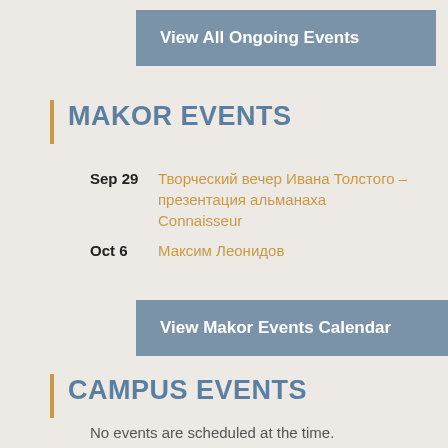View All Ongoing Events
MAKOR EVENTS
Sep 29 — Творческий вечер Ивана Толстого – презентация альманаха Connaisseur
Oct 6 — Максим Леонидов
View Makor Events Calendar
CAMPUS EVENTS
No events are scheduled at the time.